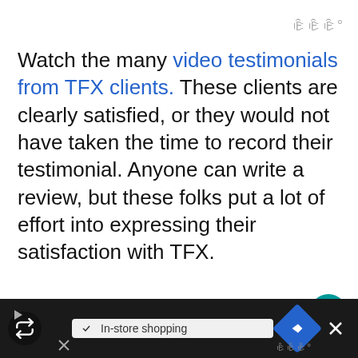Watch the many video testimonials from TFX clients. These clients are clearly satisfied, or they would not have taken the time to record their testimonial. Anyone can write a review, but these folks put a lot of effort into expressing their satisfaction with TFX.
Another piece of evidence to look for in choosing a tax partner is the number of clients who trust them. Taxes for Expats files...